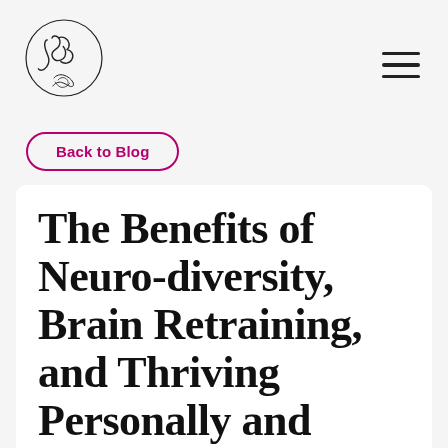[Figure (logo): Circular handwritten monogram logo with cursive letters and a decorative feather/hand motif at the bottom]
Back to Blog
The Benefits of Neuro-diversity, Brain Retraining, and Thriving Personally and Professionally